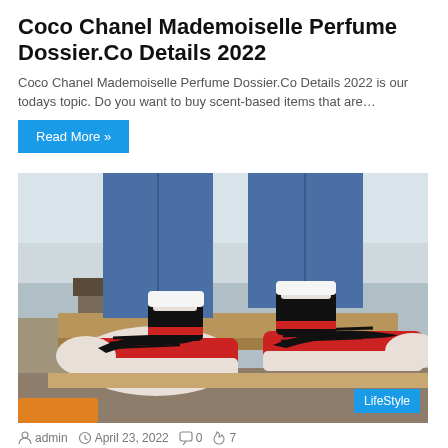Coco Chanel Mademoiselle Perfume Dossier.Co Details 2022
Coco Chanel Mademoiselle Perfume Dossier.Co Details 2022 is our todays topic. Do you want to buy scent-based items that are…
Read More »
[Figure (photo): Person wearing red, white, and black Air Jordan 1 sneakers and jeans, standing on wooden structure outdoors, suburban background with bare trees and a house. LifeStyle badge in bottom right corner.]
admin   April 23, 2022   0   7